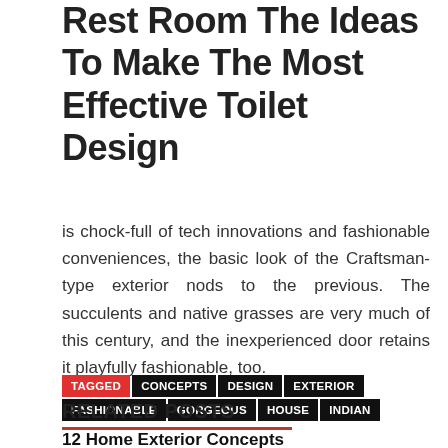Rest Room The Ideas To Make The Most Effective Toilet Design
is chock-full of tech innovations and fashionable conveniences, the basic look of the Craftsman-type exterior nods to the previous. The succulents and native grasses are very much of this century, and the inexperienced door retains it playfully fashionable, too.
TAGGED CONCEPTS DESIGN EXTERIOR FASHIONABLE GORGEOUS HOUSE INDIAN
RELATED POSTS
12 Home Exterior Concepts